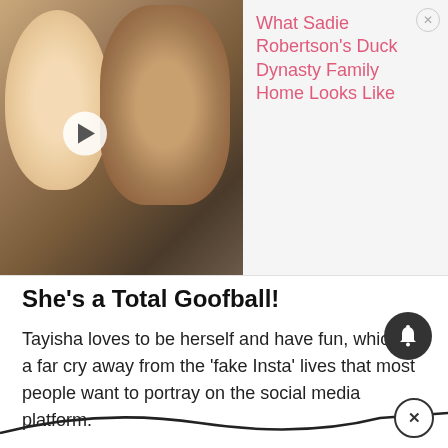[Figure (photo): Promotional ad banner showing a young blonde woman and a bearded man wearing a bandana, with a play button overlay. On the right side: pink text link reading 'What Sadie Robertson's Duck Dynasty Family Home Looks Like' with a close (X) button.]
She's a Total Goofball!
Tayisha loves to be herself and have fun, which is a far cry away from the 'fake Insta' lives that most people want to portray on the social media platform.
Tayisha flaunts and frolics across Instagram with family and friends.
Make sure you follow her at @tayshiaaa.